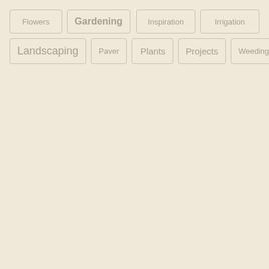Flowers
Gardening
Inspiration
Irrigation
Landscaping
Paver
Plants
Projects
Weeding